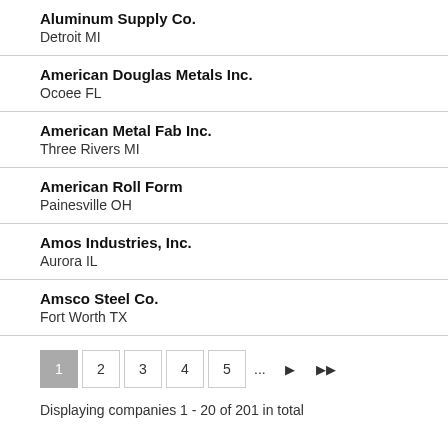Aluminum Supply Co.
Detroit MI
American Douglas Metals Inc.
Ocoee FL
American Metal Fab Inc.
Three Rivers MI
American Roll Form
Painesville OH
Amos Industries, Inc.
Aurora IL
Amsco Steel Co.
Fort Worth TX
1  2  3  4  5  ...  ▶  ▶▶
Displaying companies 1 - 20 of 201 in total